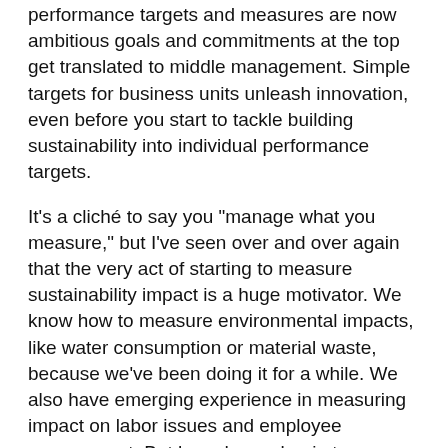performance targets and measures are now ambitious goals and commitments at the top get translated to middle management. Simple targets for business units unleash innovation, even before you start to tackle building sustainability into individual performance targets.
It's a cliché to say you "manage what you measure," but I've seen over and over again that the very act of starting to measure sustainability impact is a huge motivator. We know how to measure environmental impacts, like water consumption or material waste, because we've been doing it for a while. We also have emerging experience in measuring impact on labor issues and employee engagement. But how do you begin to measure more social issues, like human development, economic inclusion, or business impact on water as a human right? That's tough.
Taylor: Your point about human rights and water is so fascinating — are we seeing convergence between economic, environmental and social issues, or are we